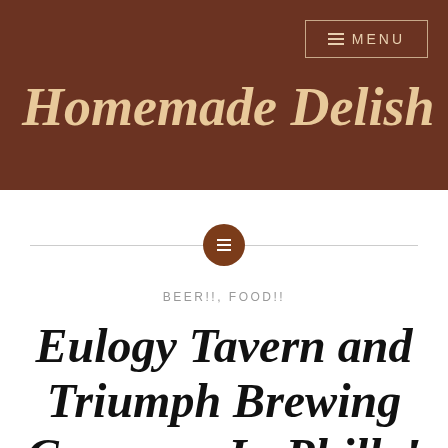Homemade Delish
[Figure (other): Decorative divider with horizontal lines and a brown circle icon containing a menu/list symbol]
BEER!!, FOOD!!
Eulogy Tavern and Triumph Brewing Company In Philly!